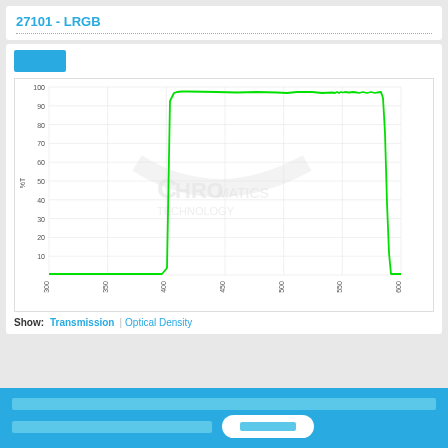27101 - LRGB
[Figure (continuous-plot): Transmission spectrum chart showing %T (y-axis, 0-100) vs wavelength in nm (x-axis, 300-600). Green line shows a bandpass filter with steep edges rising at ~400nm and falling at ~550nm, with near-100% transmission in between. Watermark: Chroma Technology logo. Y-axis label: %T. X-axis ticks: 300, 350, 400, 450, 500, 550, 600.]
Show: Transmission | Optical Density
[Footer blue area with text and button - content obscured]